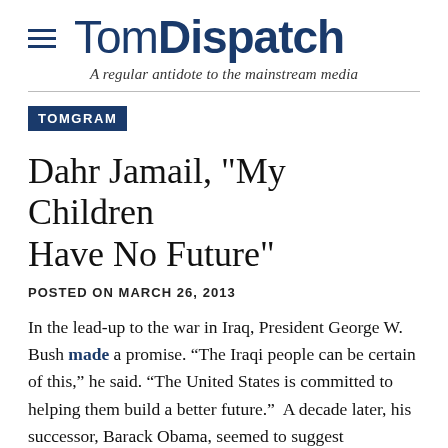TomDispatch — A regular antidote to the mainstream media
TOMGRAM
Dahr Jamail, "My Children Have No Future"
POSTED ON MARCH 26, 2013
In the lead-up to the war in Iraq, President George W. Bush made a promise. “The Iraqi people can be certain of this,” he said. “The United States is committed to helping them build a better future.” A decade later, his successor, Barack Obama, seemed to suggest